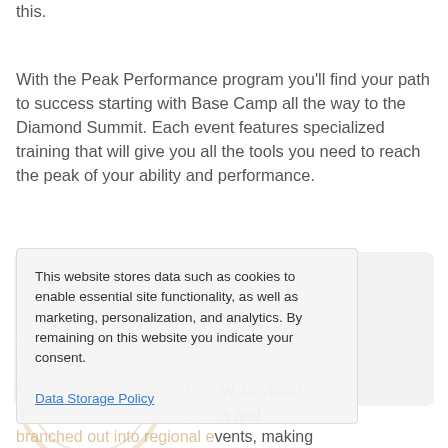has a rewarding personal development system quite like this.
With the Peak Performance program you'll find your path to success starting with Base Camp all the way to the Diamond Summit. Each event features specialized training that will give you all the tools you need to reach the peak of your ability and performance.
This website stores data such as cookies to enable essential site functionality, as well as marketing, personalization, and analytics. By remaining on this website you indicate your consent.
Data Storage Policy
Nearer to home, nearer to now. Envision has cut all qualification criteria and branched out into regional events, making professional development more accessible